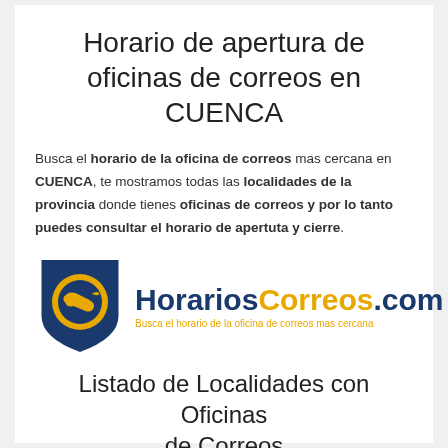Horario de apertura de oficinas de correos en CUENCA
Busca el horario de la oficina de correos mas cercana en CUENCA, te mostramos todas las localidades de la provincia donde tienes oficinas de correos y por lo tanto puedes consultar el horario de apertuta y cierre.
[Figure (logo): HorariosCorreos.com logo with Correos shield emblem on left (dark blue shield with yellow circular postal horn emblem) and site name text on right in blue and yellow, with tagline 'Busca el horario de la oficina de correos mas cercana' in yellow below]
Listado de Localidades con Oficinas de Correos